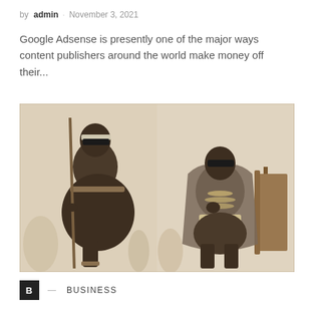by admin · November 3, 2021
Google Adsense is presently one of the major ways content publishers around the world make money off their...
[Figure (illustration): Two historical sepia-toned illustrations side by side showing figures in traditional dress, faces obscured with black masks.]
B — BUSINESS